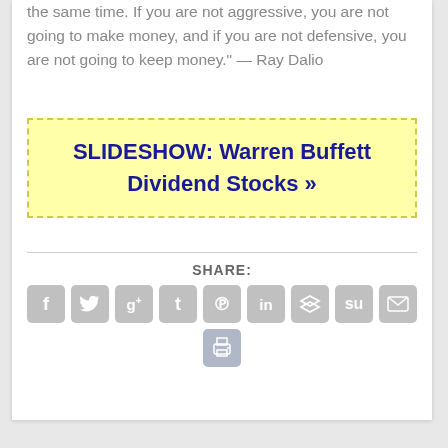the same time. If you are not aggressive, you are not going to make money, and if you are not defensive, you are not going to keep money." — Ray Dalio
[Figure (other): Yellow promotional banner with dashed border: SLIDESHOW: Warren Buffett Dividend Stocks »]
SHARE:
[Figure (infographic): Row of social media sharing icons: Facebook, Twitter, Google+, Tumblr, Pinterest, LinkedIn, Buffer, StumbleUpon, Email, and Print]